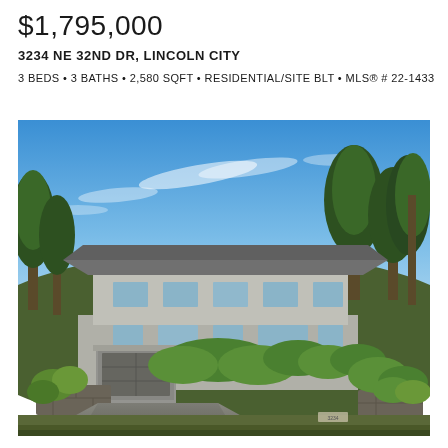$1,795,000
3234 NE 32ND DR, LINCOLN CITY
3 BEDS • 3 BATHS • 2,580 SQFT • RESIDENTIAL/SITE BLT • MLS® # 22-1433
[Figure (photo): Exterior photo of a mid-century modern two-story residential home with gray siding, a single-car garage, lush green landscaping including trimmed round shrubs and tall pine trees, a driveway with stone retaining walls, and a bright blue sky with light clouds.]